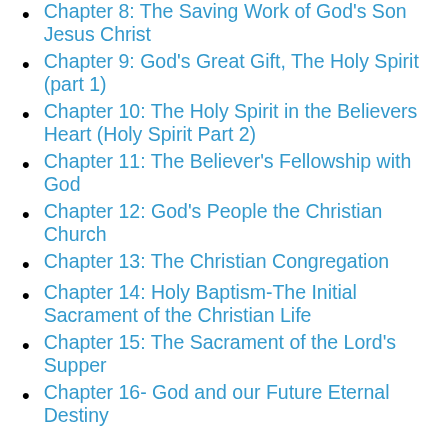Chapter 8: The Saving Work of God's Son Jesus Christ
Chapter 9: God's Great Gift, The Holy Spirit (part 1)
Chapter 10: The Holy Spirit in the Believers Heart (Holy Spirit Part 2)
Chapter 11: The Believer's Fellowship with God
Chapter 12: God's People the Christian Church
Chapter 13: The Christian Congregation
Chapter 14: Holy Baptism-The Initial Sacrament of the Christian Life
Chapter 15: The Sacrament of the Lord's Supper
Chapter 16- God and our Future Eternal Destiny